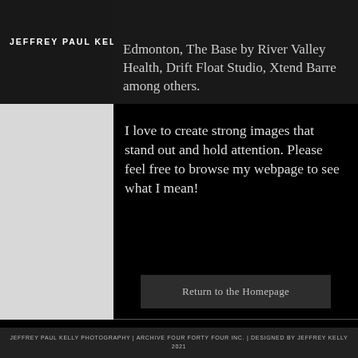JEFFREY PAUL KELLY
Edmonton, The Base by River Valley Health, Drift Float Studio, Xtend Barre among others.
I love to create strong images that stand out and hold attention. Please feel free to browse my webpage to see what I mean!
Return to the Homepage
[Figure (illustration): Cursive signature reading Jeffrey Paul Kelly]
[Figure (logo): Social media icons: LinkedIn, Facebook, Instagram (white circles on black)]
Privacy Policy | Terms of Use
JEFFREY PAUL KELLY PHOTOGRAPHY | ARCHIVE FOUR FORTY FOUR INC. | DESIGNED BY JEFFREY KELLY 2021